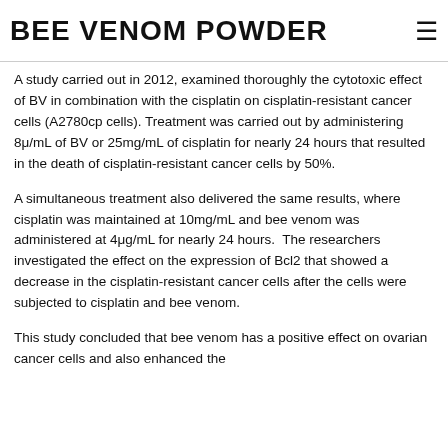BEE VENOM POWDER
A study carried out in 2012, examined thoroughly the cytotoxic effect of BV in combination with the cisplatin on cisplatin-resistant cancer cells (A2780cp cells). Treatment was carried out by administering 8μ/mL of BV or 25mg/mL of cisplatin for nearly 24 hours that resulted in the death of cisplatin-resistant cancer cells by 50%.
A simultaneous treatment also delivered the same results, where cisplatin was maintained at 10mg/mL and bee venom was administered at 4μg/mL for nearly 24 hours.  The researchers investigated the effect on the expression of Bcl2 that showed a decrease in the cisplatin-resistant cancer cells after the cells were subjected to cisplatin and bee venom.
This study concluded that bee venom has a positive effect on ovarian cancer cells and also enhanced the